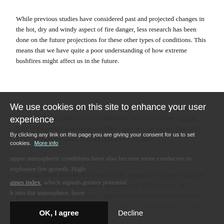While previous studies have considered past and projected changes in the hot, dry and windy aspect of fire danger, less research has been done on the future projections for these other types of conditions. This means that we have quite a poor understanding of how extreme bushfires might affect us in the future.
As part of a series of reviews produced by the Australian Energy and Water Exchange initiative, my colleagues and I have taken a closer look at the most catastrophic bushfire cases and the factors that drive them, beyond the usual hot, dry and gusty weather.
There has been an overall increase in the frequency of major bushfire events in southeastern Australia since the mid-19th century. In particular, in the past 15 years a major fire event has occurred every 5 years or less. While some of this increase is due to changes in land use since European ... upper atmospheric conditions have also become more conducive to explosive fire growth. High- ... aines index, which signals greater potential ... h into the atmosphere, have
We use cookies on this site to enhance your user experience
By clicking any link on this page you are giving your consent for us to set cookies. More info
OK, I agree
Decline